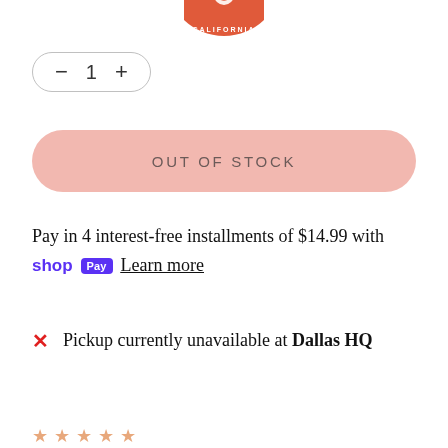[Figure (logo): Partial circular logo with orange/red color and 'CALIFORNIA' text visible at bottom arc]
— 1 +
OUT OF STOCK
Pay in 4 interest-free installments of $14.99 with shop Pay  Learn more
✕ Pickup currently unavailable at Dallas HQ